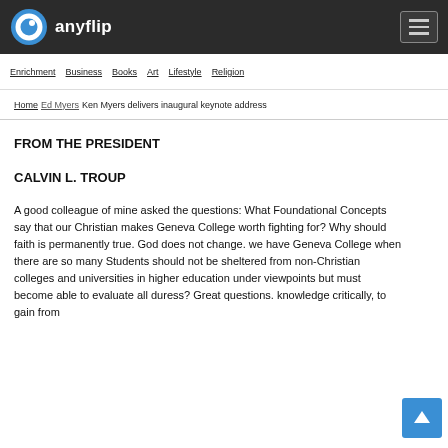anyflip
Enrichment  Business  Books  Art  Lifestyle  Religion
Home > Ken Myers delivers inaugural keynote address
FROM THE PRESIDENT
CALVIN L. TROUP
A good colleague of mine asked the questions: What Foundational Concepts say that our Christian makes Geneva College worth fighting for? Why should faith is permanently true. God does not change. we have Geneva College when there are so many Students should not be sheltered from non-Christian colleges and universities in higher education under viewpoints but must become able to evaluate all duress? Great questions. knowledge critically, to gain from